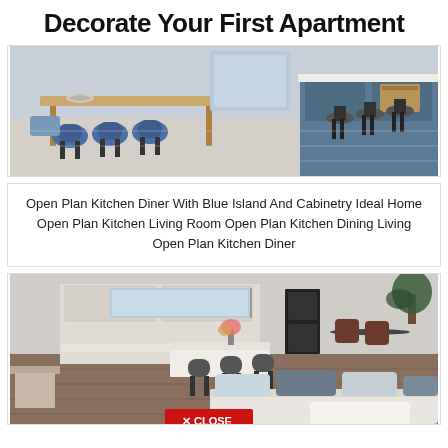Decorate Your First Apartment
[Figure (photo): Open plan kitchen diner with blue island cabinetry, bar stools, and wooden dining table with blue chairs]
Open Plan Kitchen Diner With Blue Island And Cabinetry Ideal Home Open Plan Kitchen Living Room Open Plan Kitchen Dining Living Open Plan Kitchen Diner
[Figure (photo): Modern open plan kitchen living room with grey island bar stools, white sofa with cushions, and dining area. A red CLOSE button overlay appears at the bottom center.]